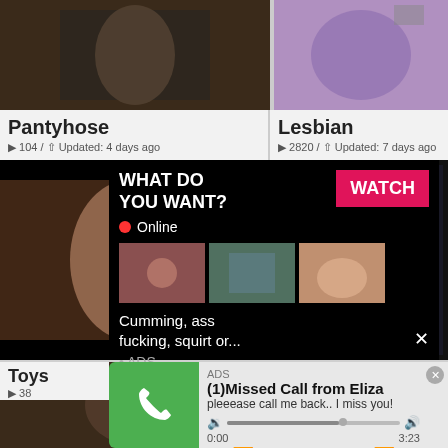[Figure (screenshot): Top-left thumbnail placeholder dark]
[Figure (screenshot): Top-right thumbnail purple tones]
Pantyhose
104 / Updated: 4 days ago
Lesbian
2820 / Updated: 7 days ago
[Figure (screenshot): Middle left video thumbnail]
[Figure (screenshot): Middle right video dark]
[Figure (infographic): Ad popup overlay: WHAT DO YOU WANT? WATCH button, Online indicator, three thumbnails, text Cumming, ass fucking, squirt or..., ADS label, close X]
Toys
38
[Figure (screenshot): Bottom left thumbnail]
[Figure (screenshot): Bottom right thumbnail]
[Figure (infographic): Audio ad popup: green phone icon, ADS label, (1)Missed Call from Eliza, pleeease call me back.. I miss you!, audio player controls, time 0:00 to 3:23]